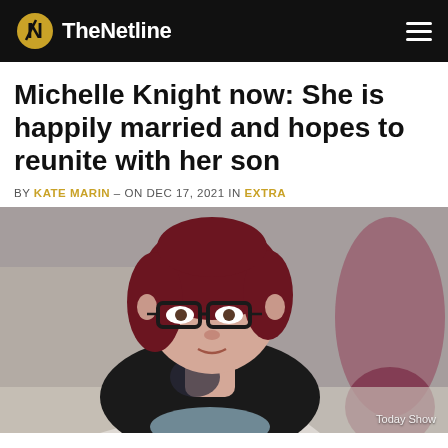TheNetline
Michelle Knight now: She is happily married and hopes to reunite with her son
BY KATE MARIN – ON DEC 17, 2021 IN EXTRA
[Figure (photo): Woman with short red hair and black-rimmed glasses wearing a black cardigan with tattoos visible on chest, seated in an audience setting. Watermark reads 'Today Show'.]